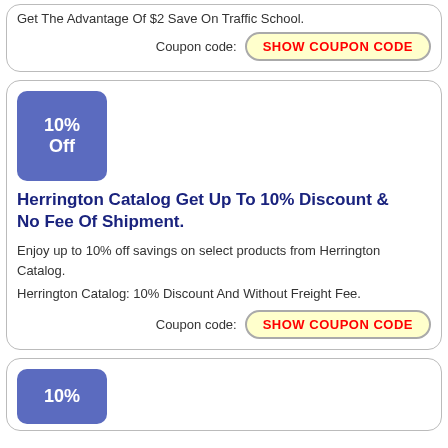Get The Advantage Of $2 Save On Traffic School.
Coupon code: SHOW COUPON CODE
[Figure (other): Blue badge with '10% Off' text]
Herrington Catalog Get Up To 10% Discount & No Fee Of Shipment.
Enjoy up to 10% off savings on select products from Herrington Catalog.
Herrington Catalog: 10% Discount And Without Freight Fee.
Coupon code: SHOW COUPON CODE
[Figure (other): Blue badge partially visible at bottom with '10%' text]